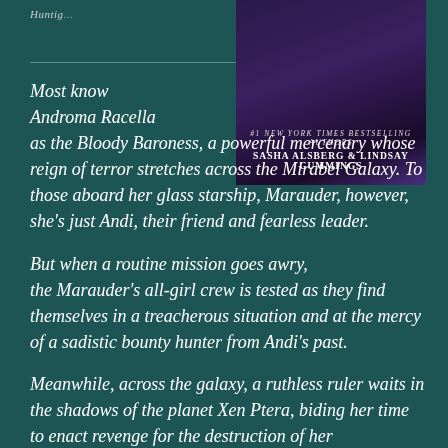Huntig...
[Figure (illustration): Book cover for a sci-fi novel by #1 New York Times Bestselling Authors Sasha Alsberg & Lindsay Cummings. Dark purple nebula background.]
Most know Androma Racella as the Bloody Baroness, a powerful mercenary whose reign of terror stretches across the Mirabel Galaxy. To those aboard her glass starship, Marauder, however, she's just Andi, their friend and fearless leader.
But when a routine mission goes awry, the Marauder's all-girl crew is tested as they find themselves in a treacherous situation and at the mercy of a sadistic bounty hunter from Andi's past.
Meanwhile, across the galaxy, a ruthless ruler waits in the shadows of the planet Xen Ptera, biding her time to enact revenge for the destruction of her...